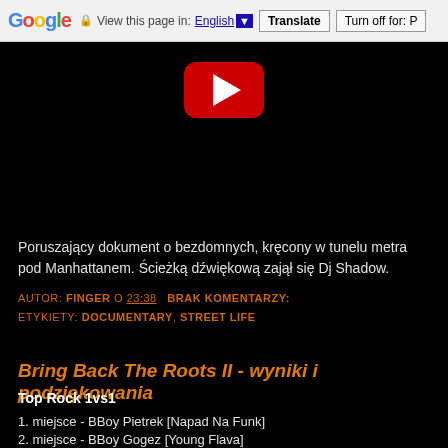Google  View this page in: English ▼  Translate  Turn off for: P
[Figure (screenshot): YouTube video player thumbnail with red play button on black background]
Poruszający dokument o bezdomnych, kręcony w tunelu metra pod Manhattanem. Ścieżką dźwiękową zajął się Dj Shadow.
AUTOR: FINGER O 23:38  BRAK KOMENTARZY:  ETYKIETY: DOCUMENTARY, STREET LIFE
Bring Back The Roots II - wyniki i podziękowania
Top Rock 1vs1
1. miejsce - BBoy Pietrek [Napad Na Funk]
2. miejsce - BBoy Gogez [Young Flava]